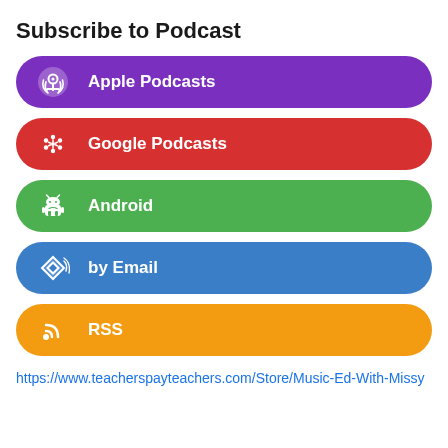Subscribe to Podcast
Apple Podcasts
Google Podcasts
Android
by Email
RSS
https://www.teacherspayteachers.com/Store/Music-Ed-With-Missy